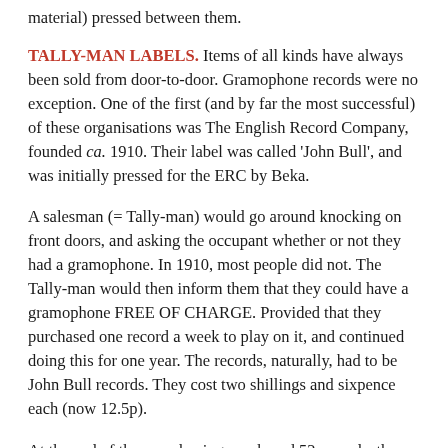material) pressed between them.
TALLY-MAN LABELS.
Items of all kinds have always been sold from door-to-door. Gramophone records were no exception. One of the first (and by far the most successful) of these organisations was The English Record Company, founded ca. 1910. Their label was called 'John Bull', and was initially pressed for the ERC by Beka.
A salesman (= Tally-man) would go around knocking on front doors, and asking the occupant whether or not they had a gramophone. In 1910, most people did not. The Tally-man would then inform them that they could have a gramophone FREE OF CHARGE. Provided that they purchased one record a week to play on it, and continued doing this for one year. The records, naturally, had to be John Bull records. They cost two shillings and sixpence each (now 12.5p).
At the end of the year, having purchased 52 records, the gramophone became their property, and they no longer had to buy one disc a week – unless, of course, they wished to carry on doing